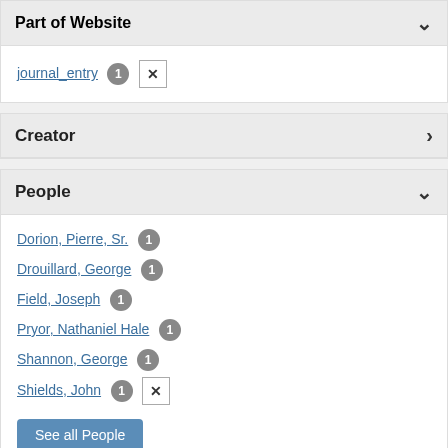Part of Website
journal_entry 1 ✕
Creator
People
Dorion, Pierre, Sr. 1
Drouillard, George 1
Field, Joseph 1
Pryor, Nathaniel Hale 1
Shannon, George 1
Shields, John 1 ✕
See all People